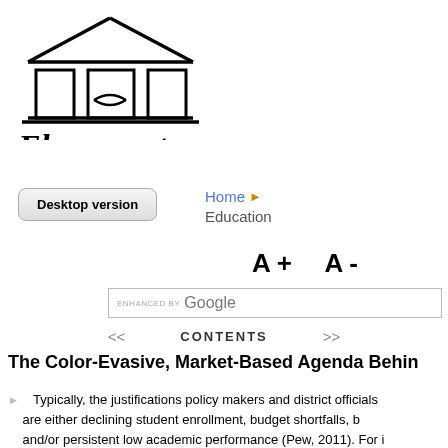[Figure (logo): Ebrary.net logo with building/library SVG icon and cursive text 'Ebrary.net']
Desktop version
Home ▶ Education
A+  A-
ENHANCED BY Google
<<    CONTENTS    >>
The Color-Evasive, Market-Based Agenda Behin
Typically, the justifications policy makers and district officials are either declining student enrollment, budget shortfalls, b and/or persistent low academic performance (Pew, 2011). For i Schools' (CPS) policy outlined three explanations for closing scho